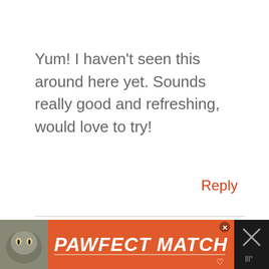Yum! I haven't seen this around here yet. Sounds really good and refreshing, would love to try!
Reply
SUESUEPER
MARCH 14, 2015 AT 5:30 AM
[Figure (other): Advertisement banner for PAWFECT MATCH with orange background, cat image on left, bold italic white text, and close button]